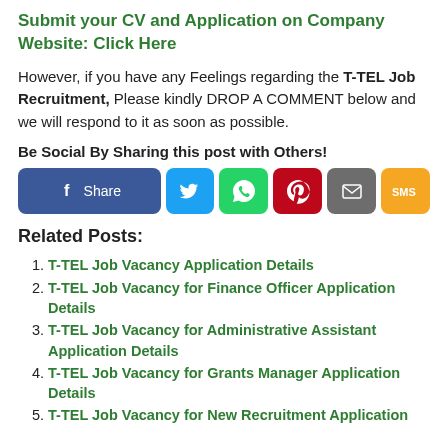Submit your CV and Application on Company Website: Click Here
However, if you have any Feelings regarding the T-TEL Job Recruitment, Please kindly DROP A COMMENT below and we will respond to it as soon as possible.
Be Social By Sharing this post with Others!
[Figure (infographic): Row of social share buttons: Facebook (Share), Twitter, WhatsApp, Pinterest, Email, SMS]
Related Posts:
T-TEL Job Vacancy Application Details
T-TEL Job Vacancy for Finance Officer Application Details
T-TEL Job Vacancy for Administrative Assistant Application Details
T-TEL Job Vacancy for Grants Manager Application Details
T-TEL Job Vacancy for New Recruitment Application